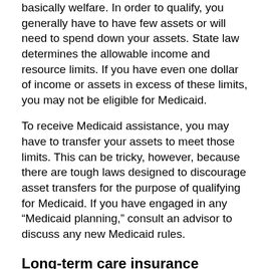basically welfare. In order to qualify, you generally have to have few assets or will need to spend down your assets. State law determines the allowable income and resource limits. If you have even one dollar of income or assets in excess of these limits, you may not be eligible for Medicaid.
To receive Medicaid assistance, you may have to transfer your assets to meet those limits. This can be tricky, however, because there are tough laws designed to discourage asset transfers for the purpose of qualifying for Medicaid. If you have engaged in any “Medicaid planning,” consult an advisor to discuss any new Medicaid rules.
Long-term care insurance
A long-term care insurance policy may enable you to transfer a portion of the economic liability of long-term care to an insurance company in exchange for the regular premiums. Long-term care insurance may be used to help pay for skilled care, intermediate care, and custodial care. Most policies pay for nursing home care, and